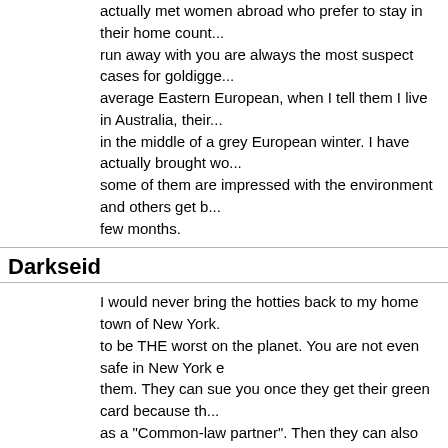actually met women abroad who prefer to stay in their home count... run away with you are always the most suspect cases for goldigge... average Eastern European, when I tell them I live in Australia, their... in the middle of a grey European winter. I have actually brought wo... some of them are impressed with the environment and others get b... few months.
Darkseid
I would never bring the hotties back to my home town of New York. to be THE worst on the planet. You are not even safe in New York e them. They can sue you once they get their green card because th... as a "Common-law partner". Then they can also sue you if you hav... well in this city. I am safe to bring them here only on brief visits but hangs out with. Also, I wouldn't want her to see that i now live with car (NYC forces you not to have one and charges you $7 each time tolls now). I would treat the ones who want to go back to the US with you AS a would avoid them like you avoid the American Woman because the... Women once they come to the US.
Bart9000
Dark- way off topic. No one is posting anyways